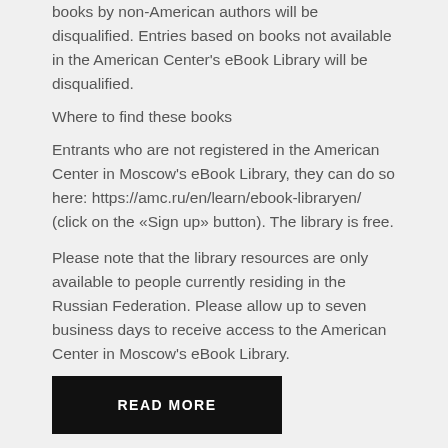is based on a book by an American author. Entries based on books by non-American authors will be disqualified. Entries based on books not available in the American Center's eBook Library will be disqualified.
Where to find these books
Entrants who are not registered in the American Center in Moscow's eBook Library, they can do so here: https://amc.ru/en/learn/ebook-libraryen/ (click on the «Sign up» button). The library is free.
Please note that the library resources are only available to people currently residing in the Russian Federation. Please allow up to seven business days to receive access to the American Center in Moscow's eBook Library.
READ MORE